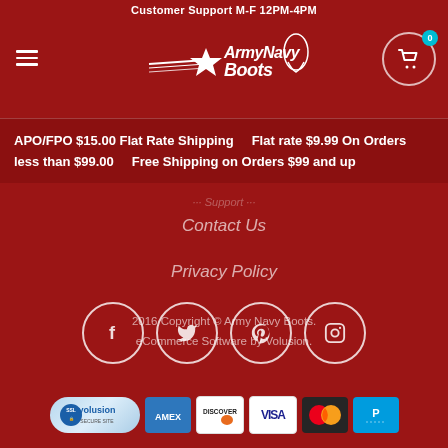Customer Support M-F 12PM-4PM
[Figure (logo): Army Navy Boots logo with star and boot graphic, white text on dark red background]
APO/FPO $15.00 Flat Rate Shipping    Flat rate $9.99 On Orders less than $99.00    Free Shipping on Orders $99 and up
Contact Us
Privacy Policy
[Figure (infographic): Four social media icon circles: Facebook, Twitter, Pinterest, Instagram]
2016 Copyright © Army Navy Boots.
eCommerce Software by Volusion.
[Figure (infographic): Payment badges: Volusion SSL Secure Site, American Express, Discover, Visa, Mastercard, PayPal]